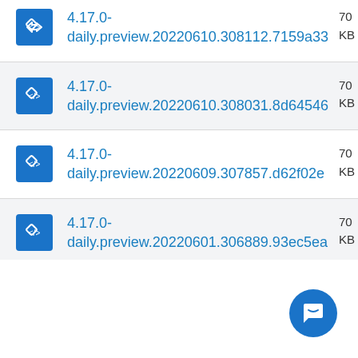4.17.0-daily.preview.20220610.308112.7159a33
4.17.0-daily.preview.20220610.308031.8d64546
4.17.0-daily.preview.20220609.307857.d62f02e
4.17.0-daily.preview.20220601.306889.93ec5ea